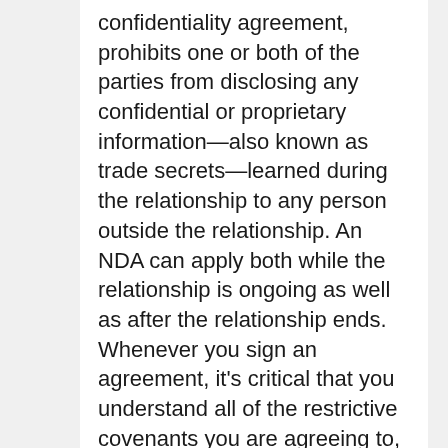confidentiality agreement, prohibits one or both of the parties from disclosing any confidential or proprietary information—also known as trade secrets—learned during the relationship to any person outside the relationship. An NDA can apply both while the relationship is ongoing as well as after the relationship ends. Whenever you sign an agreement, it's critical that you understand all of the restrictive covenants you are agreeing to, since they can impact you and your business even after the relationship has ended.
4) Terms covering refunds and